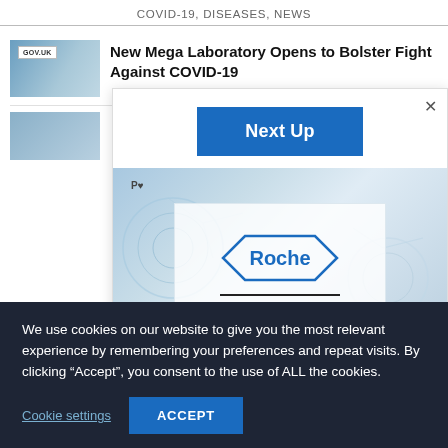COVID-19, DISEASES, NEWS
[Figure (screenshot): Thumbnail image of a GOV.UK page with blue background]
New Mega Laboratory Opens to Bolster Fight Against COVID-19
[Figure (screenshot): Next Up popup overlay with blue button and Roche logo image below]
[Figure (screenshot): Small thumbnail of a second news article]
We use cookies on our website to give you the most relevant experience by remembering your preferences and repeat visits. By clicking “Accept”, you consent to the use of ALL the cookies.
Cookie settings
ACCEPT